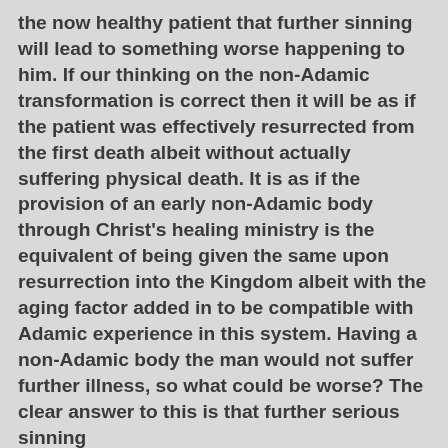the now healthy patient that further sinning will lead to something worse happening to him. If our thinking on the non-Adamic transformation is correct then it will be as if the patient was effectively resurrected from the first death albeit without actually suffering physical death. It is as if the provision of an early non-Adamic body through Christ's healing ministry is the equivalent of being given the same upon resurrection into the Kingdom albeit with the aging factor added in to be compatible with Adamic experience in this system. Having a non-Adamic body the man would not suffer further illness, so what could be worse? The clear answer to this is that further serious sinning